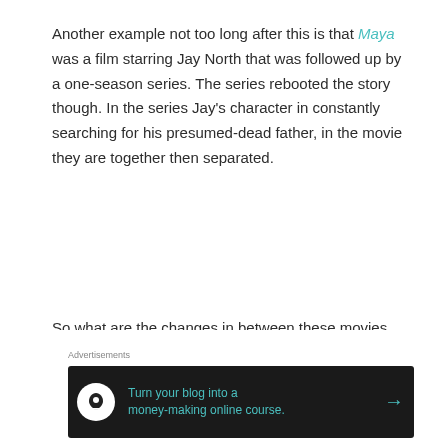Another example not too long after this is that Maya was a film starring Jay North that was followed up by a one-season series. The series rebooted the story though. In the series Jay's character in constantly searching for his presumed-dead father, in the movie they are together then separated.
So what are the changes in between these movies, and then leading to the series?
Flipper (1963)
Advertisements
[Figure (other): Advertisement banner: dark background with circular logo icon, teal text reading 'Turn your blog into a money-making online course.' with arrow]